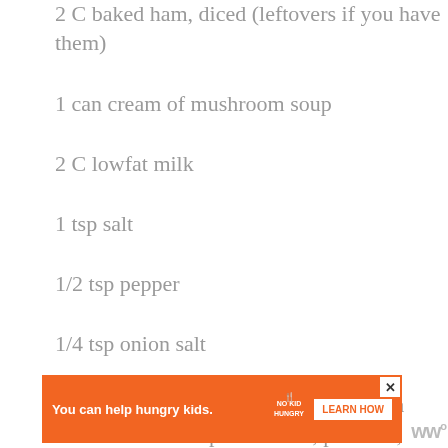2 C baked ham, diced  (leftovers if you have them)
1 can cream of mushroom soup
2 C lowfat milk
1 tsp salt
1/2 tsp pepper
1/4 tsp onion salt
In a stock pot warm the milk and cream of mushroom soup. Add corn, potatoes, ham, spices.  Warm through and serve with saltines.
[Figure (other): Advertisement banner: orange background with 'You can help hungry kids.' text, No Kid Hungry logo, and LEARN HOW button. Close (X) button in corner.]